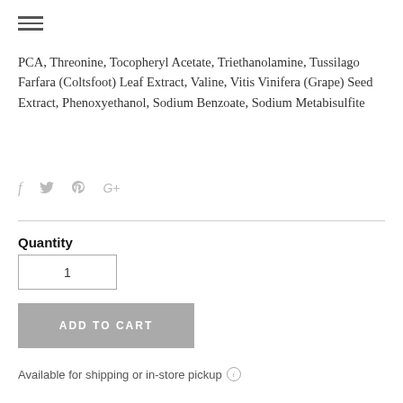[Figure (other): Hamburger menu icon (three horizontal lines)]
PCA, Threonine, Tocopheryl Acetate, Triethanolamine, Tussilago Farfara (Coltsfoot) Leaf Extract, Valine, Vitis Vinifera (Grape) Seed Extract, Phenoxyethanol, Sodium Benzoate, Sodium Metabisulfite
[Figure (other): Social sharing icons: Facebook (f), Twitter (bird), Pinterest (P), Google+ (G+)]
Quantity
1
ADD TO CART
Available for shipping or in-store pickup